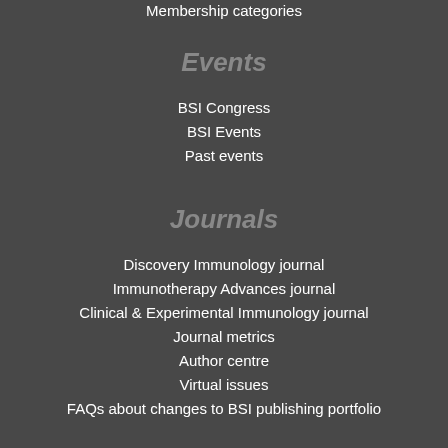Membership categories
Events
BSI Congress
BSI Events
Past events
Journals
Discovery Immunology journal
Immunotherapy Advances journal
Clinical & Experimental Immunology journal
Journal metrics
Author centre
Virtual issues
FAQs about changes to BSI publishing portfolio